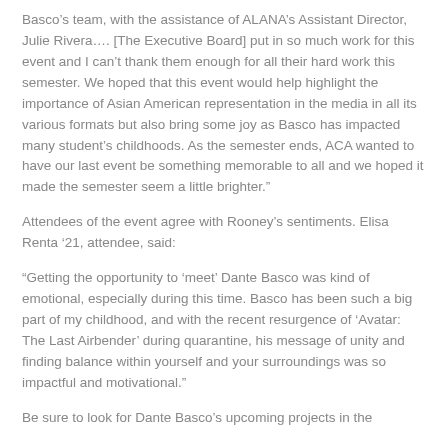Basco's team, with the assistance of ALANA's Assistant Director, Julie Rivera.... [The Executive Board] put in so much work for this event and I can't thank them enough for all their hard work this semester. We hoped that this event would help highlight the importance of Asian American representation in the media in all its various formats but also bring some joy as Basco has impacted many student's childhoods. As the semester ends, ACA wanted to have our last event be something memorable to all and we hoped it made the semester seem a little brighter."
Attendees of the event agree with Rooney's sentiments. Elisa Renta '21, attendee, said:
“Getting the opportunity to ‘meet’ Dante Basco was kind of emotional, especially during this time. Basco has been such a big part of my childhood, and with the recent resurgence of ‘Avatar: The Last Airbender’ during quarantine, his message of unity and finding balance within yourself and your surroundings was so impactful and motivational."
Be sure to look for Dante Basco's upcoming projects in the